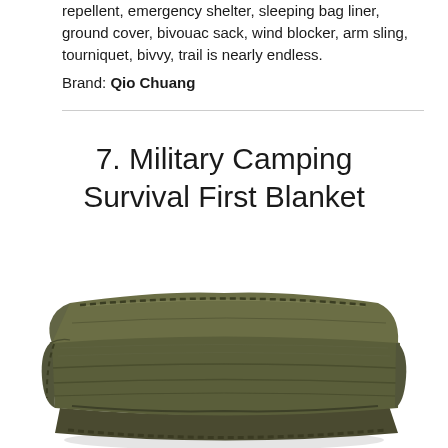repellent, emergency shelter, sleeping bag liner, ground cover, bivouac sack, wind blocker, arm sling, tourniquet, bivvy, trail is nearly endless.
Brand: Qio Chuang
7. Military Camping Survival First Blanket
[Figure (photo): A folded olive/army green wool military blanket photographed on a white background, showing the layered folds and stitched border detail.]